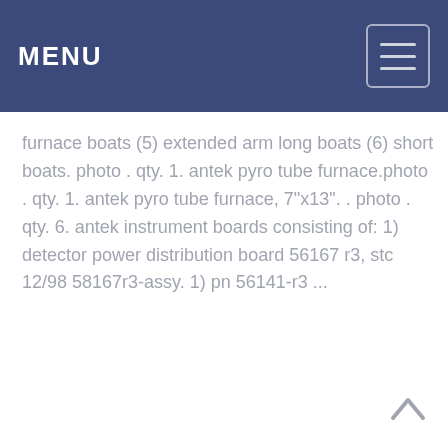MENU
furnace boats (5) extended arm long boats (6) short boats. photo . qty. 1. antek pyro tube furnace.photo . qty. 1. antek pyro tube furnace, 7"x13". . photo . qty. 6. antek instrument boards consisting of: 1) detector power distribution board 56167 r3, stc 12/98 58167r3-assy. 1) pn 56141-r3 ...